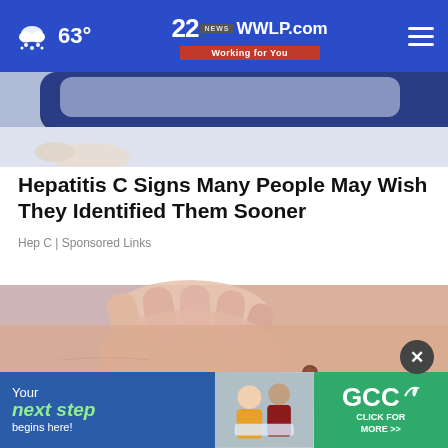63° | 22WWWLP.com Working for You
[Figure (photo): Partial top image showing dark navy blue object on light background, top of article image]
Hepatitis C Signs Many People May Wish They Identified Them Sooner
Hep C | Sponsored Links
[Figure (photo): Close-up photo of a hand scratching skin on a torso, with a small brown mole visible]
[Figure (infographic): Advertisement banner: Your next step begins here! GCC Click for More >>]